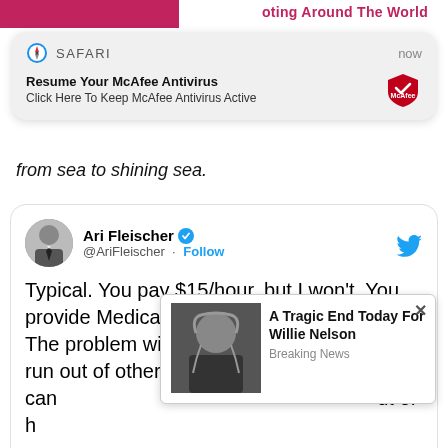...oting Around The World
[Figure (screenshot): Safari browser notification popup: 'Resume Your McAfee Antivirus - Click Here To Keep McAfee Antivirus Active' with McAfee logo]
from sea to shining sea.
[Figure (screenshot): Tweet from Ari Fleischer (@AriFleischer): 'Typical. You pay $15/hour, but I won't. You provide Medicare for all, but Vermont won't. The problem with Socialism is you eventually run out of other people's money. When it comes to socialism, it...' with Follow button and Twitter bird icon]
[Figure (screenshot): Ad popup overlay showing Willie Nelson photo with headline 'A Tragic End Today For Willie Nelson' and 'Breaking News' subtext, with X close button]